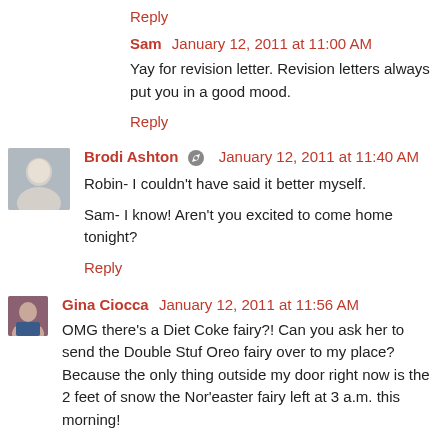Reply
Sam  January 12, 2011 at 11:00 AM
Yay for revision letter. Revision letters always put you in a good mood.
Reply
Brodi Ashton  January 12, 2011 at 11:40 AM
Robin- I couldn't have said it better myself.
Sam- I know! Aren't you excited to come home tonight?
Reply
Gina Ciocca  January 12, 2011 at 11:56 AM
OMG there's a Diet Coke fairy?! Can you ask her to send the Double Stuf Oreo fairy over to my place? Because the only thing outside my door right now is the 2 feet of snow the Nor'easter fairy left at 3 a.m. this morning!